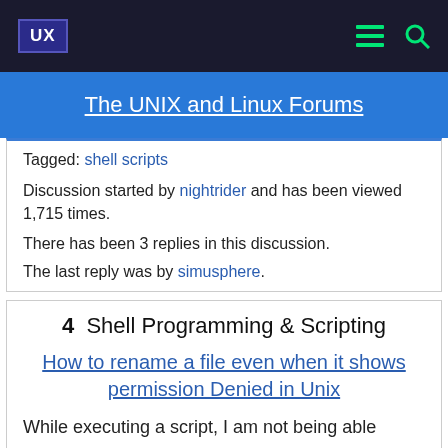UX | The UNIX and Linux Forums
Tagged: shell scripts
Discussion started by nightrider and has been viewed 1,715 times.
There has been 3 replies in this discussion.
The last reply was by simusphere.
4 Shell Programming & Scripting
How to rename a file even when it shows permission Denied in Unix
While executing a script, I am not being able